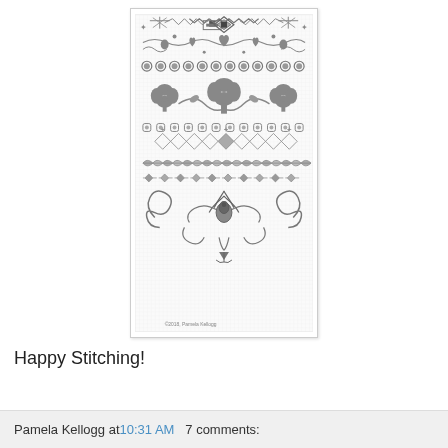[Figure (illustration): A cross-stitch or embroidery sampler pattern on a light grid background, featuring multiple decorative bands: geometric star/snowflake patterns at top, floral hearts and scrolling vines, circular medallion border, large four-leaf clover/flower motifs, small circular dot border, diamond/triangle geometric band, leafy feather-like band, small leaf/arrow band, and a bottom ornamental flourish with scrollwork and a bird/bow motif. Copyright 2018 Pamela Kellogg noted at bottom.]
Happy Stitching!
Pamela Kellogg at 10:31 AM   7 comments: